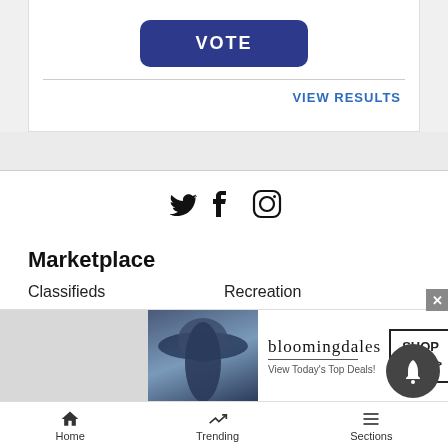VOTE
VIEW RESULTS
[Figure (other): Social media icons: Twitter bird, Facebook f, Instagram camera]
Marketplace
Classifieds
Recreation
Jobs
Merchandise
Real Estate
Legals
Rentals
Autos
Pets
[Figure (advertisement): Bloomingdale's advertisement: View Today's Top Deals! SHOP NOW >]
Home  Trending  Sections